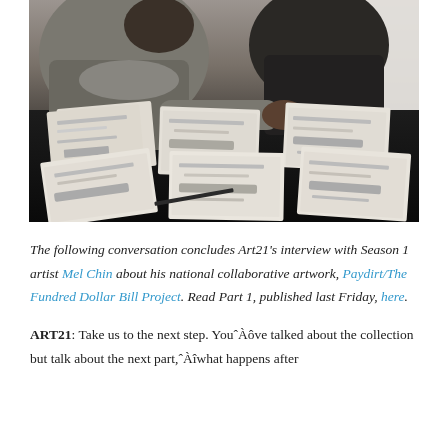[Figure (photo): A person leaning over a black table covered with multiple sheets of paper showing printed currency/bill designs. Another person is visible in the background.]
The following conversation concludes Art21's interview with Season 1 artist Mel Chin about his national collaborative artwork, Paydirt/The Fundred Dollar Bill Project. Read Part 1, published last Friday, here.
ART21: Take us to the next step. You've talked about the collection but talk about the next part, what happens after